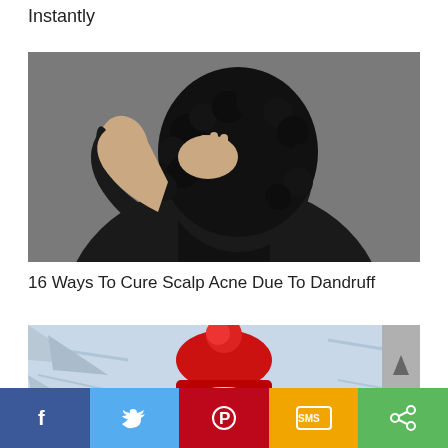Instantly
[Figure (photo): Person with curly black hair scratching their head, wearing a black shirt, viewed from behind against a gray background]
16 Ways To Cure Scalp Acne Due To Dandruff
[Figure (photo): Person wearing a red winter hat/beanie against a snowy background, partially visible]
Social share bar with Facebook, Twitter, Pinterest, SMS, and share buttons